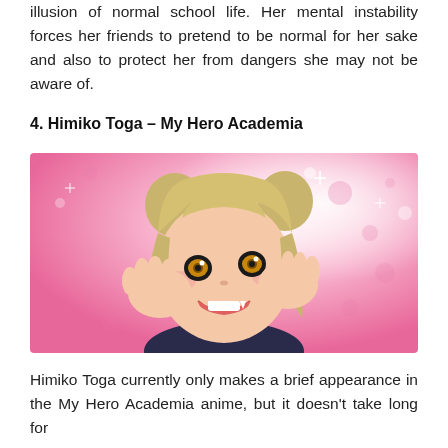illusion of normal school life. Her mental instability forces her friends to pretend to be normal for her sake and also to protect her from dangers she may not be aware of.
4. Himiko Toga – My Hero Academia
[Figure (illustration): Anime illustration of Himiko Toga from My Hero Academia — a smiling blonde girl with buns, hands raised to her cheeks, pink sparkling background]
Himiko Toga currently only makes a brief appearance in the My Hero Academia anime, but it doesn't take long for